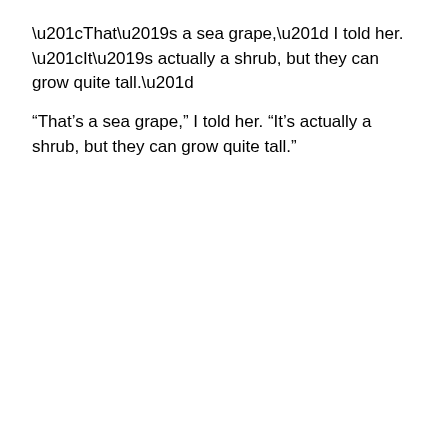“That’s a sea grape,” I told her. “It’s actually a shrub, but they can grow quite tall.”
“Well, it’s lovely. Such big leaves!”
Now clearly there’s nothing remarkable about this conversation, until you know that Mom had asked the very same question with the very same enthusiasm every morning of her visit. And each morning I supplied the same answer.  Mom was in her late 80s, and her dementia was becoming more and more noticeable.
Mom’s fresh outlook each morning reminded me of Lamentations 3:22-23:
The faithful love of the LORD never ends!
His mercies never cease.